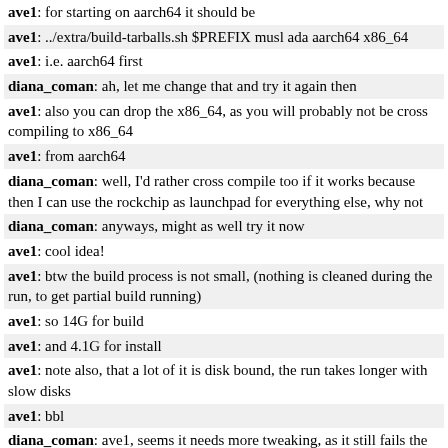ave1: for starting on aarch64 it should be
ave1: ../extra/build-tarballs.sh $PREFIX musl ada aarch64 x86_64
ave1: i.e. aarch64 first
diana_coman: ah, let me change that and try it again then
ave1: also you can drop the x86_64, as you will probably not be cross compiling to x86_64
ave1: from aarch64
diana_coman: well, I'd rather cross compile too if it works because then I can use the rockchip as launchpad for everything else, why not
diana_coman: anyways, might as well try it now
ave1: cool idea!
ave1: btw the build process is not small, (nothing is cleaned during the run, to get partial build running)
ave1: so 14G for build
ave1: and 4.1G for install
ave1: note also, that a lot of it is disk bound, the run takes longer with slow disks
ave1: bbl
diana_coman: ave1, seems it needs more tweaking, as it still fails the same: http://p.bvulpes.com/pastes/IqoYy/?raw=true
diana_coman: good to know really; perhaps add those notes to the post so it's all in one place?
diana_coman: re size and disk I mean
spyked: http://btcbase.org/log/2018-05-15#1813870 <-- ty!